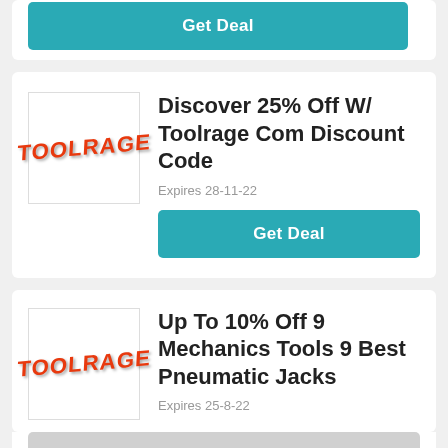[Figure (screenshot): Partial top card showing a teal Get Deal button]
[Figure (logo): Toolrage logo — bold red 3D text on white background]
Discover 25% Off W/ Toolrage Com Discount Code
Expires 28-11-22
Get Deal
[Figure (logo): Toolrage logo — bold red 3D text on white background]
Up To 10% Off 9 Mechanics Tools 9 Best Pneumatic Jacks
Expires 25-8-22
Get Deal (partial)